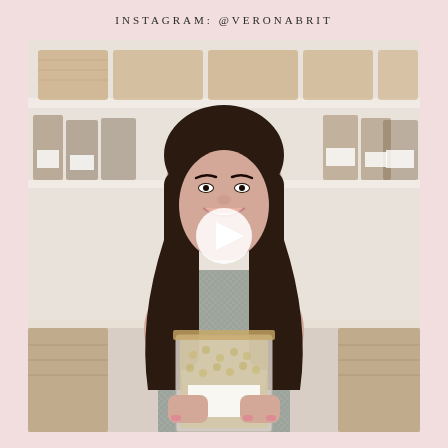INSTAGRAM: @VERONABRIT
[Figure (photo): Woman with long dark hair smiling and holding a clear container filled with cereal/grains, standing in a well-organized pantry with white shelves, labeled glass jars, and wicker baskets. A video play button overlay is visible in the center of the image.]